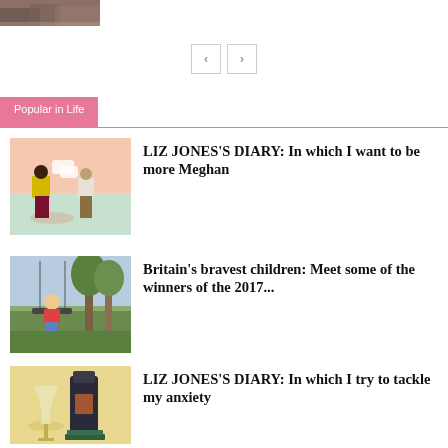[Figure (photo): Partial thumbnail of a photo at top-left]
[Figure (other): Pagination navigation buttons with left and right arrows]
Popular in Life
[Figure (illustration): Illustration of two people standing apart, one in yellow jacket and dark trousers]
LIZ JONES'S DIARY: In which I want to be more Meghan
[Figure (photo): Photo of a child on a swing outdoors]
Britain's bravest children: Meet some of the winners of the 2017...
[Figure (illustration): Illustration with a wine glass and a dark bottle]
LIZ JONES'S DIARY: In which I try to tackle my anxiety
[Figure (photo): Partial thumbnail of another article image at bottom]